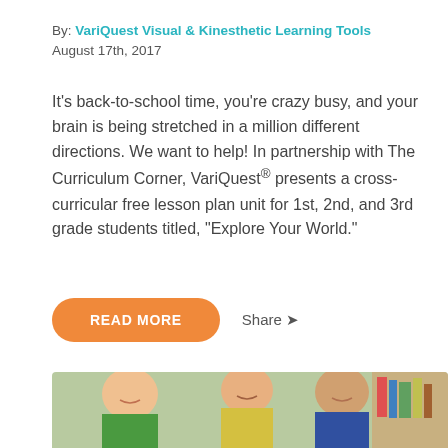By: VariQuest Visual & Kinesthetic Learning Tools
August 17th, 2017
It's back-to-school time, you're crazy busy, and your brain is being stretched in a million different directions. We want to help! In partnership with The Curriculum Corner, VariQuest® presents a cross-curricular free lesson plan unit for 1st, 2nd, and 3rd grade students titled, "Explore Your World."
READ MORE
Share
[Figure (photo): Three middle school students smiling, two boys and a girl, sitting together at a table in a classroom setting. Boy in green shirt on left, girl in yellow shirt in center, girl in blue sweater on right. Bookshelf visible in background.]